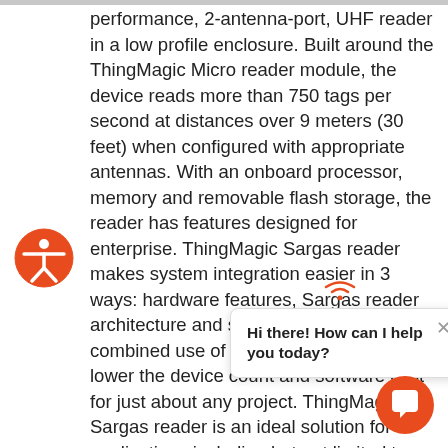performance, 2-antenna-port, UHF reader in a low profile enclosure. Built around the ThingMagic Micro reader module, the device reads more than 750 tags per second at distances over 9 meters (30 feet) when configured with appropriate antennas. With an onboard processor, memory and removable flash storage, the reader has features designed for enterprise. ThingMagic Sargas reader makes system integration easier in 3 ways: hardware features, Sargas reader architecture and supporting software. The combined use of these capabilities will lower the device count and software cost for just about any project. ThingMagic's Sargas reader is an ideal solution for applications including but not limited to: access control, in-vehicle asset tracking, point of sale, document tracking, medical patient ID, item level scan in